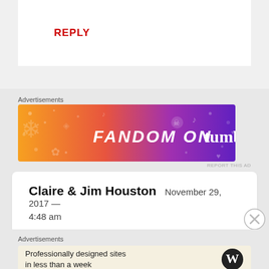REPLY
Advertisements
[Figure (illustration): Tumblr 'Fandom on Tumblr' banner advertisement with orange-to-purple gradient background and decorative icons]
Claire & Jim Houston  November 29, 2017 — 4:48 am
I love the entry about Gramps! He was a very nice man. We used to be babysat by Lidy
Advertisements
[Figure (illustration): WordPress advertisement: 'Professionally designed sites in less than a week' with WordPress logo]